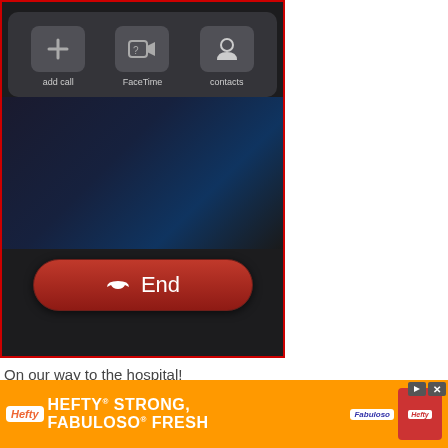[Figure (screenshot): iPhone call screen showing 'add call', 'FaceTime', and 'contacts' buttons at top, dark background in middle, and a red 'End' button at the bottom]
On our way to the hospital!
My Other Videos
[Figure (screenshot): Black video player area]
[Figure (screenshot): Hefty advertisement banner: HEFTY STRONG, FABULOSO FRESH with Hefty and Fabuloso logos]